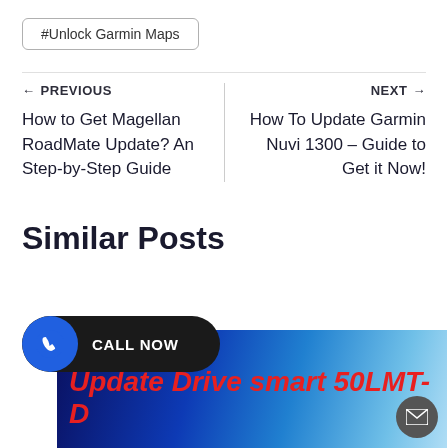#Unlock Garmin Maps
← PREVIOUS
How to Get Magellan RoadMate Update? An Step-by-Step Guide
NEXT →
How To Update Garmin Nuvi 1300 – Guide to Get it Now!
Similar Posts
[Figure (photo): Banner image showing Garmin branding with text 'Update Drive smart 50LMT-' on a blue background]
CALL NOW